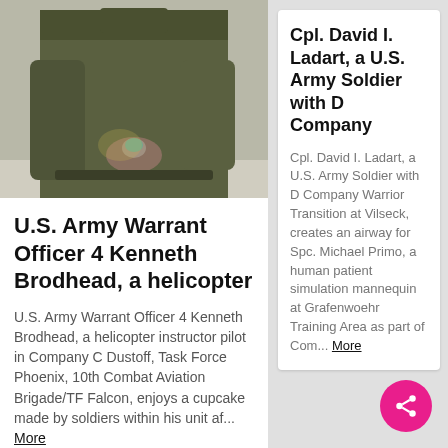[Figure (photo): Photo of a U.S. Army soldier in green uniform from torso down, holding something small, standing on a light-colored surface]
U.S. Army Warrant Officer 4 Kenneth Brodhead, a helicopter
U.S. Army Warrant Officer 4 Kenneth Brodhead, a helicopter instructor pilot in Company C Dustoff, Task Force Phoenix, 10th Combat Aviation Brigade/TF Falcon, enjoys a cupcake made by soldiers within his unit af... More
Cpl. David I. Ladart, a U.S. Army Soldier with D Company
Cpl. David I. Ladart, a U.S. Army Soldier with D Company Warrior Transition at Vilseck, creates an airway for Spc. Michael Primo, a human patient simulation mannequin at Grafenwoehr Training Area as part of Com... More